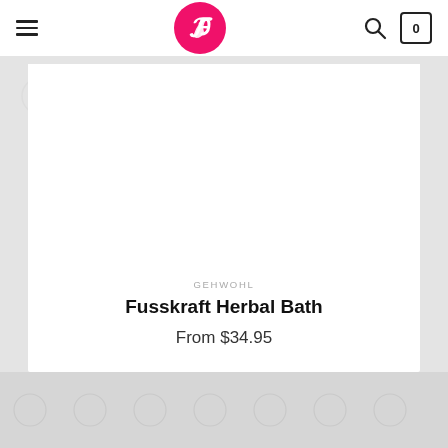Navigation header with hamburger menu, logo, search icon, and cart (0)
[Figure (screenshot): Product page screenshot showing a Gehwohl product card with brand name GEHWOHL, product title Fusskraft Herbal Bath, and price From $34.95]
GEHWOHL
Fusskraft Herbal Bath
From $34.95